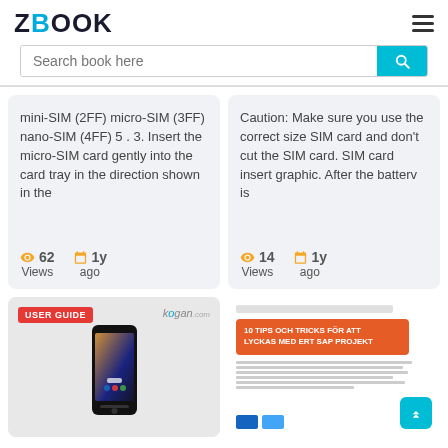ZBOOK
Search book here
mini-SIM (2FF) micro-SIM (3FF) nano-SIM (4FF) 5 . 3. Insert the micro-SIM card gently into the card tray in the direction shown in the
62 Views  1y ago
Caution: Make sure you use the correct size SIM card and don't cut the SIM card. SIM card insert graphic. After the battery is
14 Views  1y ago
[Figure (screenshot): Kogan smartphone user guide cover with USER GUIDE badge and phone image]
[Figure (screenshot): Document page with orange header '10 TIPS OCH TRICKS FOR ATT LYCKAS MED ERT SAP PROJEKT' and body text, with cyan back-to-top button]